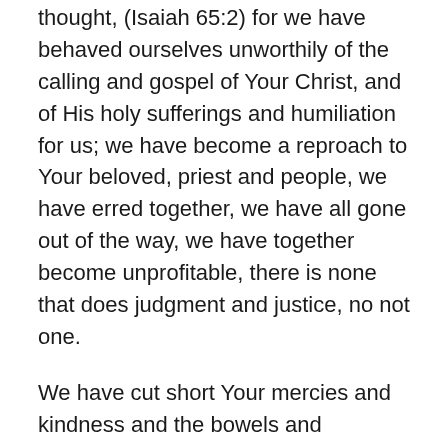thought, (Isaiah 65:2) for we have behaved ourselves unworthily of the calling and gospel of Your Christ, and of His holy sufferings and humiliation for us; we have become a reproach to Your beloved, priest and people, we have erred together, we have all gone out of the way, we have together become unprofitable, there is none that does judgment and justice, no not one.
We have cut short Your mercies and kindness and the bowels and compassion of our God, by our wickedness and the perversity of our doings, in which we have turned away. You are good, but we have done amiss; You are long-suffering, but we are worthy of stripes; we acknowledge Your goodness, though we are without understanding, we have been scourged for but few of our faults; You are terrible, and who will resist You? the mountains will tremble before You; and who will strive